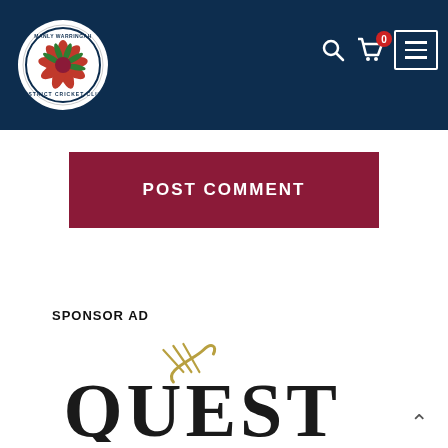Manly Warringah District Cricket Club — Navigation header with logo, search, cart, and menu
POST COMMENT
SPONSOR AD
[Figure (logo): Quest hotel/apartments logo with stylized swoosh mark above large serif text QUEST]